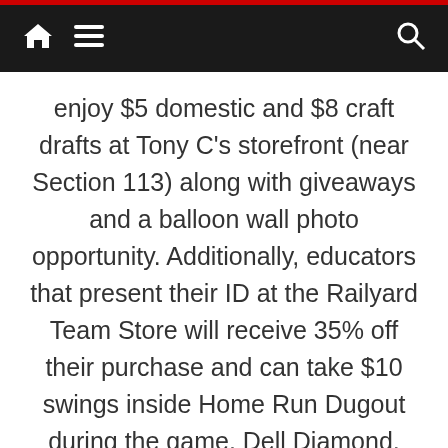Navigation bar with home, menu, and search icons
enjoy $5 domestic and $8 craft drafts at Tony C's storefront (near Section 113) along with giveaways and a balloon wall photo opportunity. Additionally, educators that present their ID at the Railyard Team Store will receive 35% off their purchase and can take $10 swings inside Home Run Dugout during the game. Dell Diamond, 3400 E Palm Valley Blvd, Round Rock.